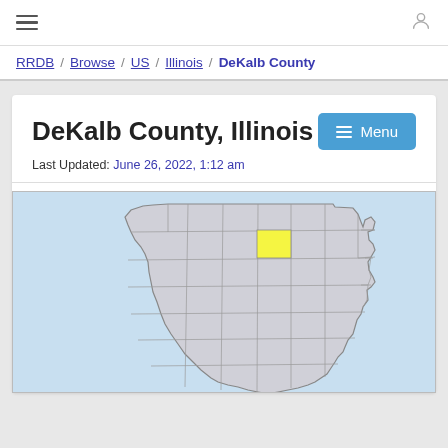≡  [user icon]
RRDB / Browse / US / Illinois / DeKalb County
DeKalb County, Illinois
Last Updated: June 26, 2022, 1:12 am
[Figure (map): Map of Illinois with DeKalb County highlighted in yellow, located in the north-central area of the state. The surrounding counties are shown in light gray with county borders visible. The map background is light blue.]